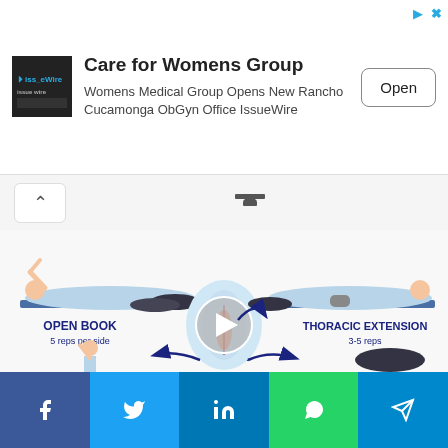[Figure (screenshot): Advertisement banner for Care for Womens Group with IssueWire logo, text and Open button]
[Figure (illustration): Navigation bar with back chevron arrow and bridge icon]
[Figure (illustration): Exercise illustration showing Open Book (5 reps per side) and Thoracic Extension (3-5 reps) with body diagrams, arrows, play button overlay]
9 Exercises to Relieve Neck and Shoulder Pain
[Figure (screenshot): Social sharing bar with Facebook, Twitter, LinkedIn, WhatsApp and Telegram buttons]